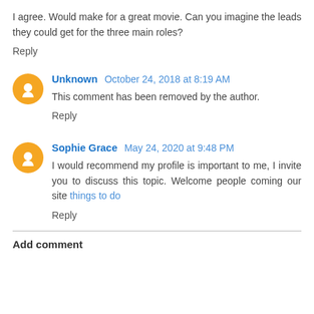I agree. Would make for a great movie. Can you imagine the leads they could get for the three main roles?
Reply
Unknown  October 24, 2018 at 8:19 AM
This comment has been removed by the author.
Reply
Sophie Grace  May 24, 2020 at 9:48 PM
I would recommend my profile is important to me, I invite you to discuss this topic. Welcome people coming our site things to do
Reply
Add comment